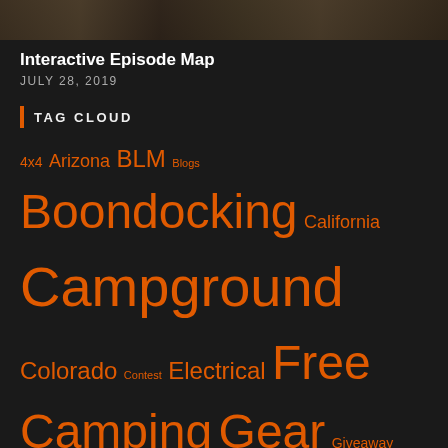[Figure (photo): Partial photo strip at top of page, showing an outdoor/nature scene in dark tones]
Interactive Episode Map
JULY 28, 2019
TAG CLOUD
4x4 Arizona BLM Blogs Boondocking California Campground Colorado Contest Electrical Free Camping Gear Giveaway Hiking Idaho Internet Kayaking Michigan Montana Mountain Biking National Forest National Monument National Park National Recreation Area Nevada New Mexico North Dakota Oregon Photography Propane skiing Solar South Dakota State Lands State Park Technology Tennessee Texas Utah Washington Water Winter Wisconsin Wyoming